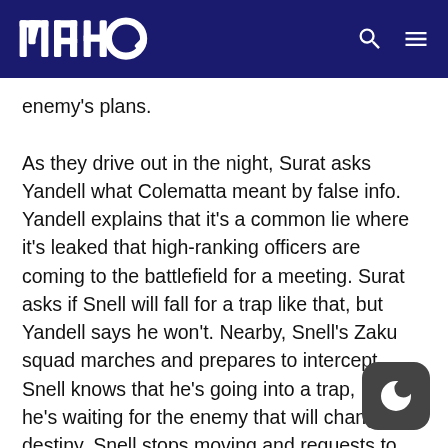MAHQ
enemy's plans.

As they drive out in the night, Surat asks Yandell what Colematta meant by false info. Yandell explains that it's a common lie where it's leaked that high-ranking officers are coming to the battlefield for a meeting. Surat asks if Snell will fall for a trap like that, but Yandell says he won't. Nearby, Snell's Zaku squad marches and prepares to intercept. Snell knows that he's going into a trap, but he's waiting for the enemy that will change his destiny. Snell stops moving and requests to withdraw because his Zaku isn't working. Surat asks Yandell why they taking position at the site of the earlier battle, Yandell just tells him to get some sleep. Surat says